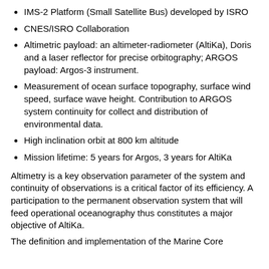IMS-2 Platform (Small Satellite Bus) developed by ISRO
CNES/ISRO Collaboration
Altimetric payload: an altimeter-radiometer (AltiKa), Doris and a laser reflector for precise orbitography; ARGOS payload: Argos-3 instrument.
Measurement of ocean surface topography, surface wind speed, surface wave height. Contribution to ARGOS system continuity for collect and distribution of environmental data.
High inclination orbit at 800 km altitude
Mission lifetime: 5 years for Argos, 3 years for AltiKa
Altimetry is a key observation parameter of the system and continuity of observations is a critical factor of its efficiency. A participation to the permanent observation system that will feed operational oceanography thus constitutes a major objective of AltiKa.
The definition and implementation of the Marine Core